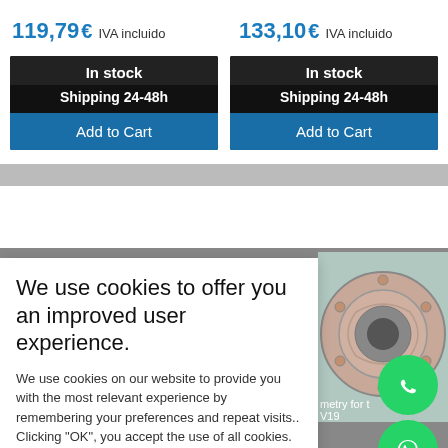119,79 € IVA incluido
133,10 € IVA incluido
In stock
Shipping 24-48h
Add to Cart
In stock
Shipping 24-48h
Add to Cart
[Figure (photo): Circular mechanical part (drum brake or similar), metallic, viewed from above on a gray-blue background]
We use cookies to offer you an improved user experience.
We use cookies on our website to provide you with the most relevant experience by remembering your preferences and repeat visits.. Clicking "OK", you accept the use of all cookies.
Cookie settings
OK
metry for t
V19